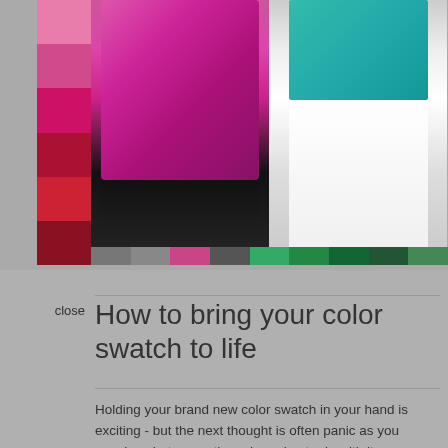[Figure (photo): Fashion photo collage showing women in colorful outfits (pink/magenta top with black pants, white pants outfit, purple floral dress, and teal/navy outfit) with color swatches on the left side and bottom of the image.]
How to bring your color swatch to life
Holding your brand new color swatch in your hand is exciting - but the next thought is often panic as you wonder what on earth you're going to do with it.